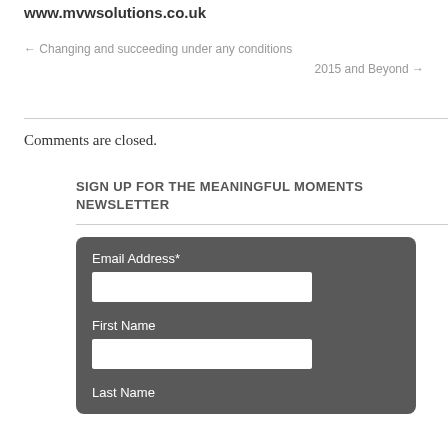www.mvwsolutions.co.uk
← Changing and succeeding under any conditions
2015 and Beyond →
Comments are closed.
SIGN UP FOR THE MEANINGFUL MOMENTS NEWSLETTER
Email Address*
First Name
Last Name